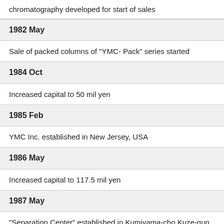chromatography developed for start of sales
| 1982 May |
| Sale of packed columns of "YMC- Pack" series started |
| 1984 Oct |
| Increased capital to 50 mil yen |
| 1985 Feb |
| YMC Inc. established in New Jersey, USA |
| 1986 May |
| Increased capital to 117.5 mil yen |
| 1987 May |
| "Separation Center" established in Kumiyama-cho,Kuze-gun, Kyoto |
| 1987 Sep |